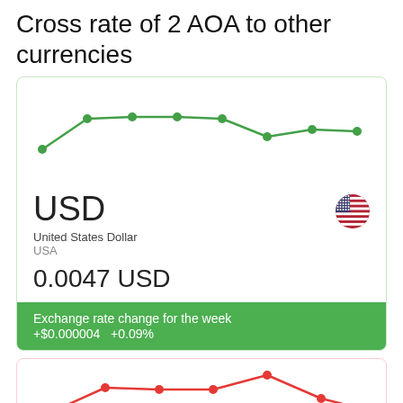Cross rate of 2 AOA to other currencies
[Figure (line-chart): Green line chart showing AOA to USD exchange rate over a week, values roughly 0.00465 rising to 0.0048 then declining slightly]
USD
United States Dollar
USA
0.0047 USD
Exchange rate change for the week
+$0.000004   +0.09%
[Figure (line-chart): Red line chart partially visible at bottom, showing exchange rate over a week]